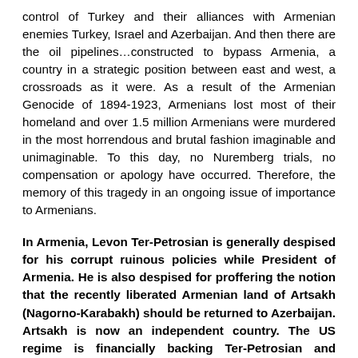control of Turkey and their alliances with Armenian enemies Turkey, Israel and Azerbaijan. And then there are the oil pipelines…constructed to bypass Armenia, a country in a strategic position between east and west, a crossroads as it were. As a result of the Armenian Genocide of 1894-1923, Armenians lost most of their homeland and over 1.5 million Armenians were murdered in the most horrendous and brutal fashion imaginable and unimaginable. To this day, no Nuremberg trials, no compensation or apology have occurred. Therefore, the memory of this tragedy in an ongoing issue of importance to Armenians.
In Armenia, Levon Ter-Petrosian is generally despised for his corrupt ruinous policies while President of Armenia. He is also despised for proffering the notion that the recently liberated Armenian land of Artsakh (Nagorno-Karabakh) should be returned to Azerbaijan. Artsakh is now an independent country. The US regime is financially backing Ter-Petrosian and causing trouble in the background. Ter-Petrosian had the strange idea that he had a snowball's chance in hell of winning an election to be President. Fat chance. Now he sends